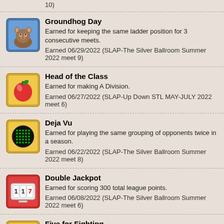10)
Groundhog Day
Earned for keeping the same ladder position for 3 consecutive meets.
Earned 06/29/2022 (SLAP-The Silver Ballroom Summer 2022 meet 9)
Head of the Class
Earned for making A Division.
Earned 06/27/2022 (SLAP-Up Down STL MAY-JULY 2022 meet 6)
Deja Vu
Earned for playing the same grouping of opponents twice in a season.
Earned 06/22/2022 (SLAP-The Silver Ballroom Summer 2022 meet 8)
Double Jackpot
Earned for scoring 300 total league points.
Earned 06/08/2022 (SLAP-The Silver Ballroom Summer 2022 meet 6)
Five for Fighting
Earned for winning your group in 5 consecutive meets.
Earned 06/01/2022 (SLAP-The Silver Ballroom Summer 2022 meet 5)
Taps
Earned for playing on Memorial Day (no preplays or forfeits)